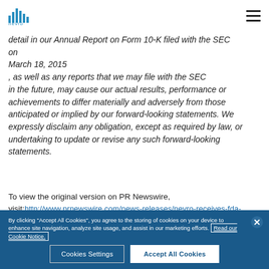Nevro logo and navigation
detail in our Annual Report on Form 10-K filed with the SEC on March 18, 2015, as well as any reports that we may file with the SEC in the future, may cause our actual results, performance or achievements to differ materially and adversely from those anticipated or implied by our forward-looking statements. We expressly disclaim any obligation, except as required by law, or undertaking to update or revise any such forward-looking statements.
To view the original version on PR Newswire, visit: http://www.prnewswire.com/news-releases/nevro-receives-fda-
By clicking "Accept All Cookies", you agree to the storing of cookies on your device to enhance site navigation, analyze site usage, and assist in our marketing efforts. Read our Cookie Notice.